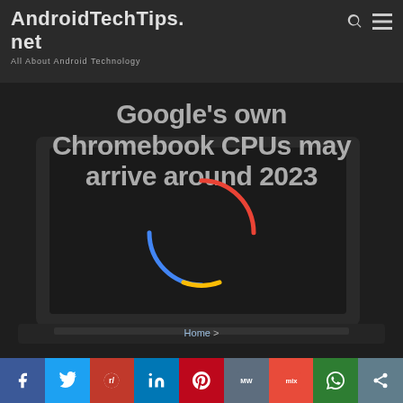AndroidTechTips.net — All About Android Technology
[Figure (screenshot): Dark hero banner showing a Chromebook laptop with Google colored loading circle overlay and article title text]
Google's own Chromebook CPUs may arrive around 2023
Home > Google's own Chromebook CPUs may arrive around 2023
[Figure (infographic): Social share bar with Facebook, Twitter, Reddit, LinkedIn, Pinterest, MW, Mix, WhatsApp, and share buttons]